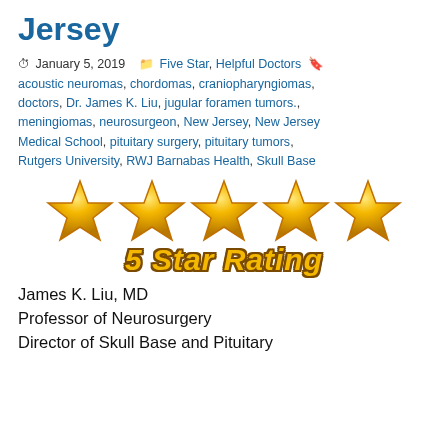Jersey
January 5, 2019   Five Star, Helpful Doctors acoustic neuromas, chordomas, craniopharyngiomas, doctors, Dr. James K. Liu, jugular foramen tumors., meningiomas, neurosurgeon, New Jersey, New Jersey Medical School, pituitary surgery, pituitary tumors, Rutgers University, RWJ Barnabas Health, Skull Base
[Figure (illustration): Five gold 3D stars arranged in a row above the text '5 Star Rating' in bold italic gold letters with dark outline.]
James K. Liu, MD
Professor of Neurosurgery
Director of Skull Base and Pituitary